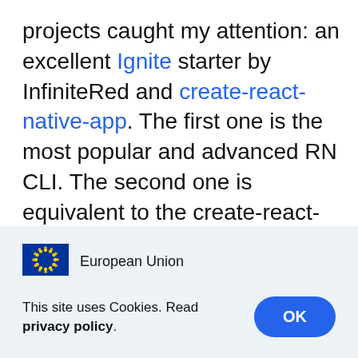projects caught my attention: an excellent Ignite starter by InfiniteRed and create-react-native-app. The first one is the most popular and advanced RN CLI. The second one is equivalent to the create-react-app tool. Unfortunately, Ignite's project structure was very different from what we were used to in our React projects. So, once again, I decided to go with what I know, scaffolded a ...
[Figure (logo): European Union flag logo — blue rectangle with a circle of yellow stars]
European Union
This site uses Cookies. Read privacy policy.